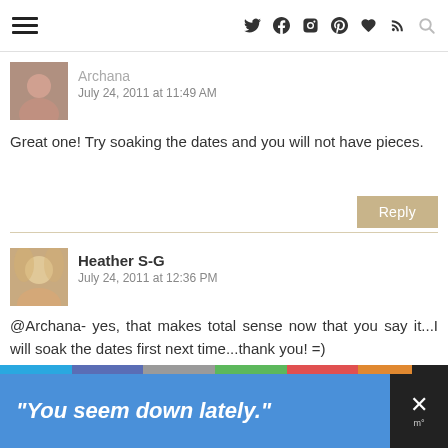Navigation header with hamburger menu and social icons
Archana
July 24, 2011 at 11:49 AM
Great one! Try soaking the dates and you will not have pieces.
Reply
Heather S-G
July 24, 2011 at 12:36 PM
@Archana- yes, that makes total sense now that you say it...I will soak the dates first next time...thank you! =)
Reply
[Figure (infographic): Advertisement banner: blue background with white italic bold text reading "You seem down lately." with a dark close button on the right]